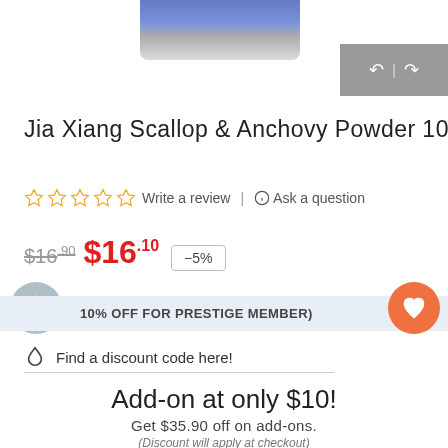[Figure (photo): Partial product image at top showing what appears to be a bottle/package with blue label and navigation arrows on the right]
Jia Xiang Scallop & Anchovy Powder 100g
☆ ☆ ☆ ☆ ☆ Write a review | Ask a question
$16.90 $16.10 -5%
10% OFF FOR PRESTIGE MEMBER)
Find a discount code here!
Add-on at only $10!
Get $35.90 off on add-ons.
(Discount will apply at checkout)